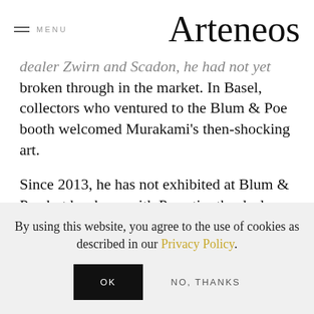MENU  Arteneos
dealer David Zwirn and Scadon, he had not yet broken through in the market. In Basel, collectors who ventured to the Blum & Poe booth welcomed Murakami's then-shocking art.
Since 2013, he has not exhibited at Blum & Poe but has been with Perrotin, the dealer who gave him his first show with (lower text truncated)
By using this website, you agree to the use of cookies as described in our Privacy Policy.
OK  NO, THANKS